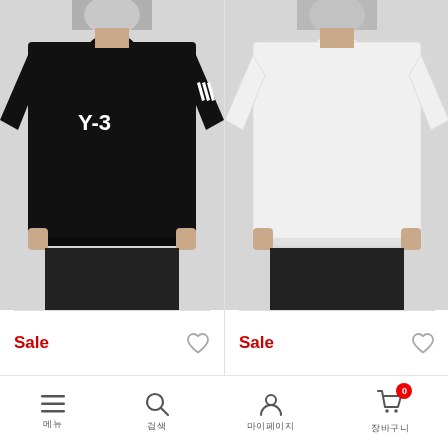[Figure (photo): Man wearing black Y-3 sweatshirt with white stripes on sleeve and Y-3 logo on chest]
[Figure (photo): Man wearing plain white crew-neck sweatshirt]
Sale
Sale
메뉴  검색  마이페이지  장바구니 0